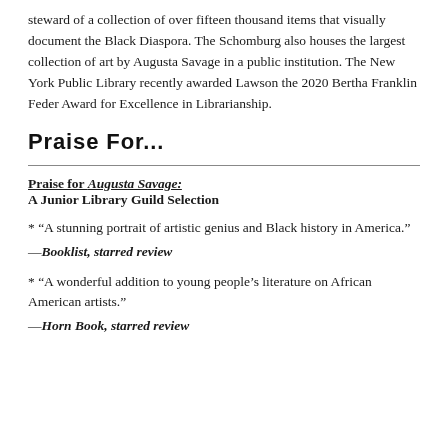steward of a collection of over fifteen thousand items that visually document the Black Diaspora. The Schomburg also houses the largest collection of art by Augusta Savage in a public institution. The New York Public Library recently awarded Lawson the 2020 Bertha Franklin Feder Award for Excellence in Librarianship.
Praise For…
Praise for Augusta Savage: A Junior Library Guild Selection
* “A stunning portrait of artistic genius and Black history in America.”
—Booklist, starred review
* “A wonderful addition to young people’s literature on African American artists.”
—Horn Book, starred review